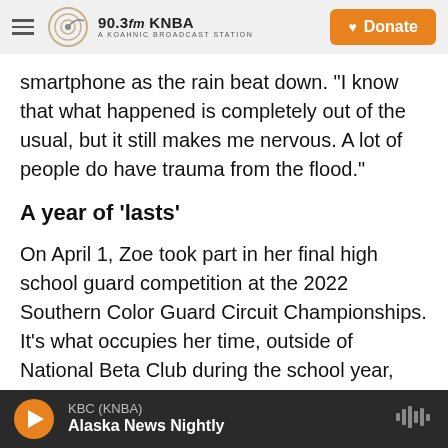90.3fm KNBA A KOAHNIC BROADCAST STATION | Donate
smartphone as the rain beat down. "I know that what happened is completely out of the usual, but it still makes me nervous. A lot of people do have trauma from the flood."
A year of 'lasts'
On April 1, Zoe took part in her final high school guard competition at the 2022 Southern Color Guard Circuit Championships. It's what occupies her time, outside of National Beta Club during the school year, and church outside of school. The competition marked a moment of reality for Zoe. It
KBC (KNBA) Alaska News Nightly